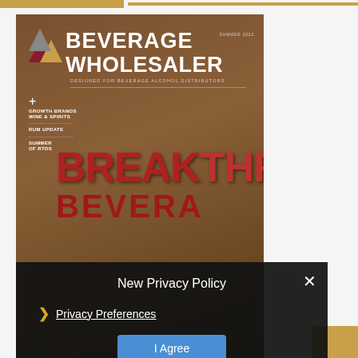[Figure (photo): Beverage Wholesaler magazine cover, Summer 2022 edition. Shows 'BEVERAGE WHOLESALER - Designed for Beverage Alcohol Distributors' masthead with triangular logo. Large red 'BREAKTHRU BEVERA[GE]' text on wooden wall background. Three business professionals (two men, one woman) standing in front of the wall. Sidebar items: Growth Brands Wine & Spirits, Rum Update, Summer of RTDs.]
New Privacy Policy
Privacy Preferences
I Agree